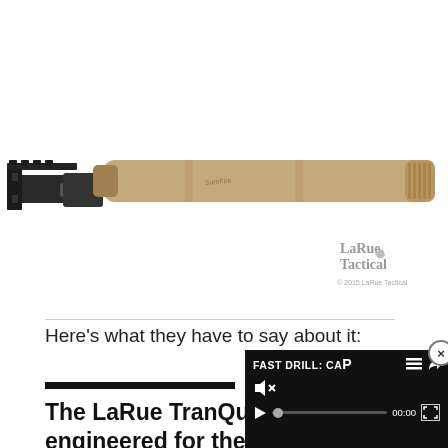[Figure (photo): Close-up photograph of a tan/FDE suppressor (silencer) attached to a rifle barrel, against a white background. LaRue Tactical logo visible in bottom right corner with '© 2015 LaRue Tactical' text.]
Here's what they have to say about it:
The LaRue TranQuilo was engineered for the LaR...
[Figure (screenshot): Video player overlay showing 'FAST DRILL: CAP' title with menu and share icons, muted speaker icon, play button, progress bar at 00:00, and fullscreen button on dark background.]